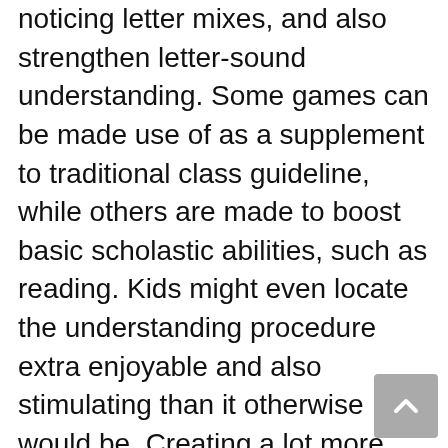noticing letter mixes, and also strengthen letter-sound understanding. Some games can be made use of as a supplement to traditional class guideline, while others are made to boost basic scholastic abilities, such as reading. Kids might even locate the understanding procedure extra enjoyable and also stimulating than it otherwise would be. Creating a lot more proficient viewers than before.
In addition to class use of video game for literacy education and learning, interactive internet sites and also mobile applications are additionally a valuable source. ABCya, a preferred academic game platform, features countless video games arranged by quality degree as well as type. These